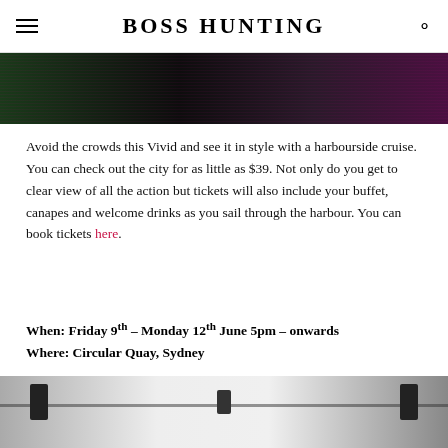BOSS HUNTING
[Figure (photo): Dark night-time photo of Vivid Sydney harbour lights, pink and purple lighting on water]
Avoid the crowds this Vivid and see it in style with a harbourside cruise. You can check out the city for as little as $39. Not only do you get to clear view of all the action but tickets will also include your buffet, canapes and welcome drinks as you sail through the harbour. You can book tickets here.
When: Friday 9th – Monday 12th June 5pm – onwards
Where: Circular Quay, Sydney
[Figure (photo): Indoor venue with truss lighting rig, speakers and hazy atmosphere]